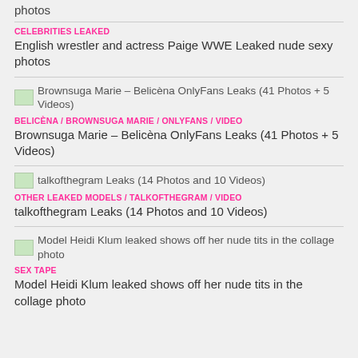photos
CELEBRITIES LEAKED
English wrestler and actress Paige WWE Leaked nude sexy photos
[Figure (photo): Thumbnail image for Brownsuga Marie – Belicèna OnlyFans Leaks (41 Photos + 5 Videos)]
Brownsuga Marie – Belicèna OnlyFans Leaks (41 Photos + 5 Videos)
BELICÈNA / BROWNSUGA MARIE / ONLYFANS / VIDEO
Brownsuga Marie – Belicèna OnlyFans Leaks (41 Photos + 5 Videos)
[Figure (photo): Thumbnail image for talkofthegram Leaks (14 Photos and 10 Videos)]
talkofthegram Leaks (14 Photos and 10 Videos)
OTHER LEAKED MODELS / TALKOFTHEGRAM / VIDEO
talkofthegram Leaks (14 Photos and 10 Videos)
[Figure (photo): Thumbnail image for Model Heidi Klum leaked shows off her nude tits in the collage photo]
Model Heidi Klum leaked shows off her nude tits in the collage photo
SEX TAPE
Model Heidi Klum leaked shows off her nude tits in the collage photo